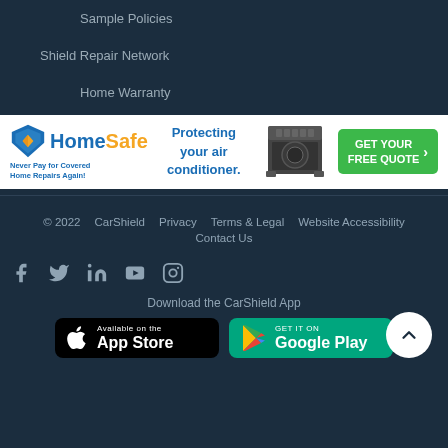Sample Policies
Shield Repair Network
Home Warranty
[Figure (infographic): HomeSafe advertisement banner: logo with shield icon, text 'Protecting your air conditioner.', image of AC unit, green CTA button 'GET YOUR FREE QUOTE']
© 2022   CarShield   Privacy   Terms & Legal   Website Accessibility   Contact Us
[Figure (infographic): Social media icons: Facebook, Twitter, LinkedIn, YouTube, Instagram]
Download the CarShield App
[Figure (infographic): App Store and Google Play download buttons]